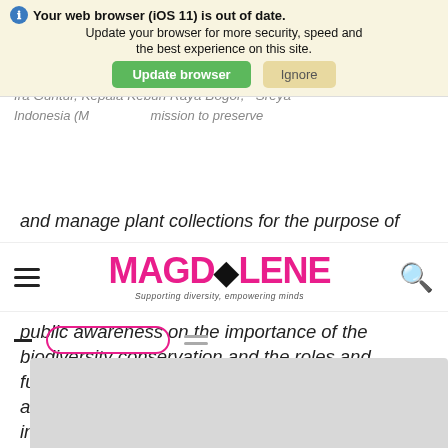[Figure (screenshot): Browser update notification banner with icon, text 'Your web browser (iOS 11) is out of date. Update your browser for more security, speed and the best experience on this site.' and two buttons: green 'Update browser' and tan 'Ignore']
Ira Guntur, Kepala Kebun Raya Bogor, Indonesia (M... mission to preserve
[Figure (logo): MAGDALENE logo in pink with tagline 'Supporting diversity, empowering minds']
public awareness on the importance of the biodiversity conservation and the roles and functions of Botanical Gardens.  Currently there are 27 botanical gardens all over Indonesia, including four that are more than 100 years old.
[Figure (screenshot): Bottom navigation bar with hamburger icon, outline button, and menu icon. Gray rectangle content placeholder below.]